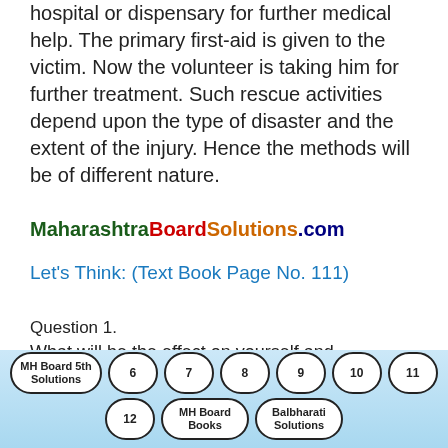hospital or dispensary for further medical help. The primary first-aid is given to the victim. Now the volunteer is taking him for further treatment. Such rescue activities depend upon the type of disaster and the extent of the injury. Hence the methods will be of different nature.
MaharashtraBoardSolutions.com
Let’s Think: (Text Book Page No. 111)
Question 1.
What will be the effect on yourself and surrounding, if any accident-like disaster
MH Board 5th Solutions  6  7  8  9  10  11  12  MH Board Books  Balbharati Solutions